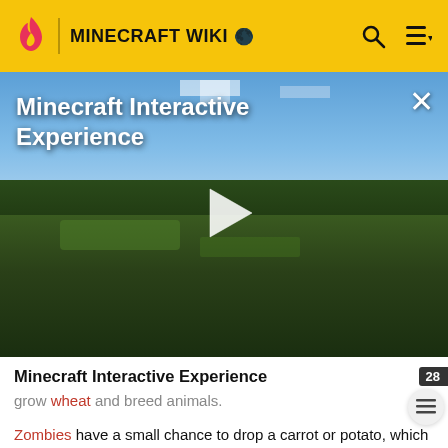MINECRAFT WIKI
[Figure (screenshot): Minecraft Interactive Experience video thumbnail showing a Minecraft landscape with green fields, trees, and blue sky. A large white play button triangle is centered on the image. Title text 'Minecraft Interactive Experience' appears in white in the upper left. An X close button appears in the upper right.]
Minecraft Interactive Experience
grow wheat and breed animals.
Zombies have a small chance to drop a carrot or potato, which can be used to breed pigs. Pigs are necessary in